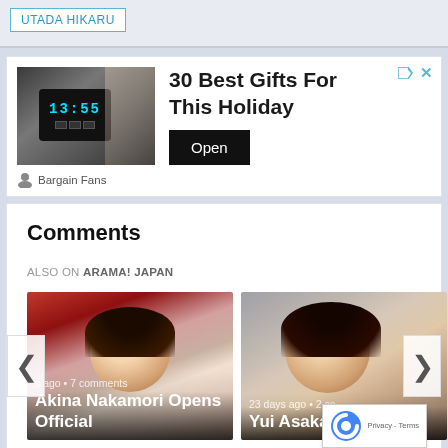UTADA HIKARU
[Figure (screenshot): Advertisement banner: flexible smartwatch device image on left, '30 Best Gifts For This Holiday' text with Open button, Bargain Fans advertiser]
Comments
ALSO ON ARAMA! JAPAN
[Figure (photo): Article card: Akina Nakamori Opens Official — photo of smiling woman with dark hair, overlay text 's ago • 7 comments']
[Figure (photo): Article card: Yui Asaka Becomes a — photo of woman with dark hair, overlay text '23 days ago • 2 co']